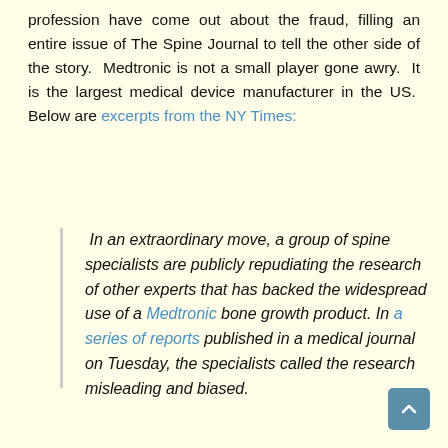profession have come out about the fraud, filling an entire issue of The Spine Journal to tell the other side of the story. Medtronic is not a small player gone awry. It is the largest medical device manufacturer in the US. Below are excerpts from the NY Times:
In an extraordinary move, a group of spine specialists are publicly repudiating the research of other experts that has backed the widespread use of a Medtronic bone growth product. In a series of reports published in a medical journal on Tuesday, the specialists called the research misleading and biased.